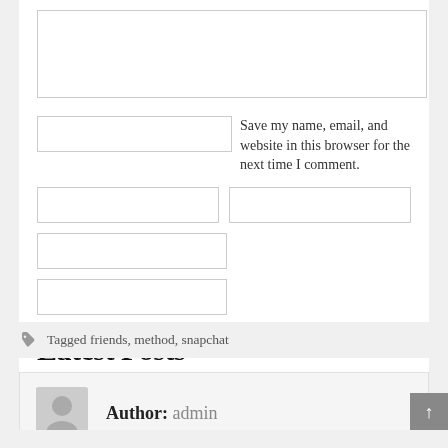[textarea input box]
Save my name, email, and website in this browser for the next time I comment.
[form input fields]
Latest Posts
Tagged friends, method, snapchat
Author: admin